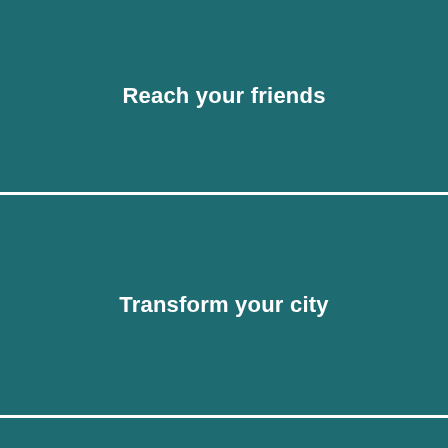Reach your friends
Transform your city